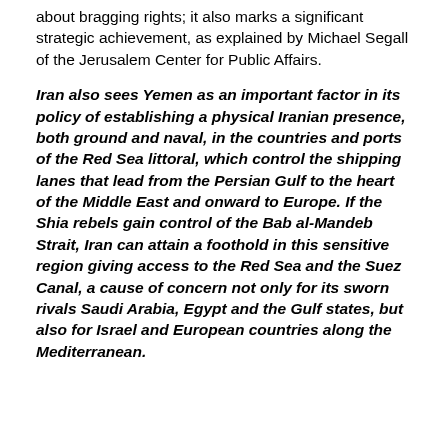about bragging rights; it also marks a significant strategic achievement, as explained by Michael Segall of the Jerusalem Center for Public Affairs.
Iran also sees Yemen as an important factor in its policy of establishing a physical Iranian presence, both ground and naval, in the countries and ports of the Red Sea littoral, which control the shipping lanes that lead from the Persian Gulf to the heart of the Middle East and onward to Europe. If the Shia rebels gain control of the Bab al-Mandeb Strait, Iran can attain a foothold in this sensitive region giving access to the Red Sea and the Suez Canal, a cause of concern not only for its sworn rivals Saudi Arabia, Egypt and the Gulf states, but also for Israel and European countries along the Mediterranean.